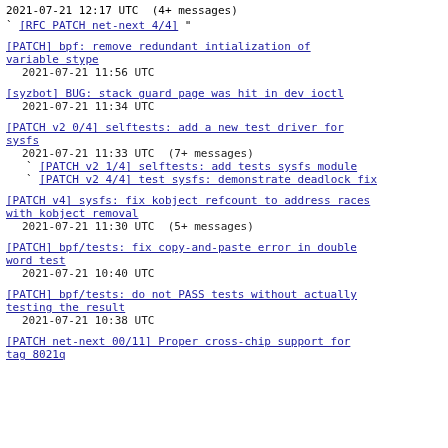2021-07-21 12:17 UTC  (4+ messages)
` [RFC PATCH net-next 4/4] "
[PATCH] bpf: remove redundant intialization of variable stype
2021-07-21 11:56 UTC
[syzbot] BUG: stack guard page was hit in dev ioctl
2021-07-21 11:34 UTC
[PATCH v2 0/4] selftests: add a new test driver for sysfs
2021-07-21 11:33 UTC  (7+ messages)
` [PATCH v2 1/4] selftests: add tests sysfs module
` [PATCH v2 4/4] test sysfs: demonstrate deadlock fix
[PATCH v4] sysfs: fix kobject refcount to address races with kobject removal
2021-07-21 11:30 UTC  (5+ messages)
[PATCH] bpf/tests: fix copy-and-paste error in double word test
2021-07-21 10:40 UTC
[PATCH] bpf/tests: do not PASS tests without actually testing the result
2021-07-21 10:38 UTC
[PATCH net-next 00/11] Proper cross-chip support for tag 8021q